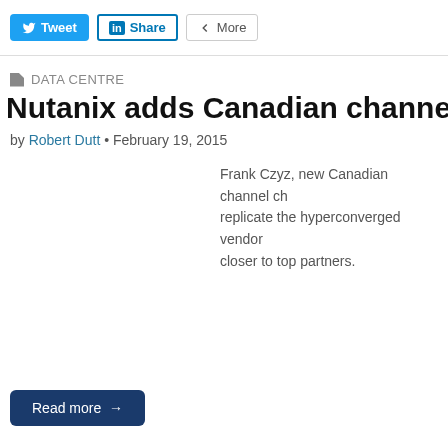[Figure (screenshot): Social sharing buttons: Tweet (Twitter/blue), Share (LinkedIn/blue border), More (grey border)]
DATA CENTRE
Nutanix adds Canadian channel sale
by Robert Dutt • February 19, 2015
Frank Czyz, new Canadian channel ch... replicate the hyperconverged vendor closer to top partners.
Read more →